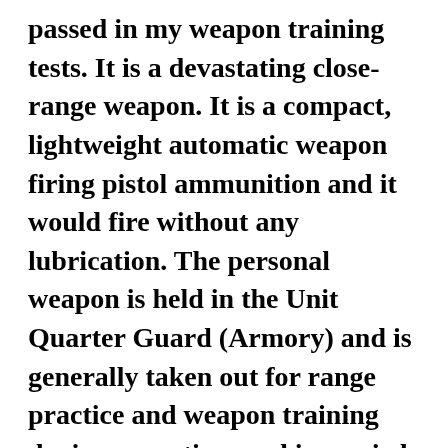passed in my weapon training tests. It is a devastating close-range weapon. It is a compact, lightweight automatic weapon firing pistol ammunition and it would fire without any lubrication. The personal weapon is held in the Unit Quarter Guard (Armory) and is generally taken out for range practice and weapon training during peacetime and is carried during the performance of active duty deployment either training or actual combat operations. I proceeded for this assignment